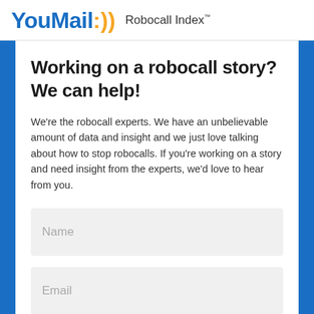YouMail :)) Robocall Index™
Working on a robocall story? We can help!
We're the robocall experts. We have an unbelievable amount of data and insight and we just love talking about how to stop robocalls. If you're working on a story and need insight from the experts, we'd love to hear from you.
Name
Email